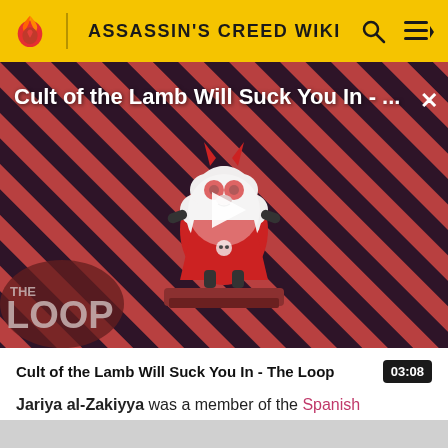ASSASSIN'S CREED WIKI
[Figure (screenshot): Video thumbnail showing 'Cult of the Lamb Will Suck You In - ...' with a cartoon lamb character on a diagonal striped red and dark background, THE LOOP logo at bottom left, play button in center, close X button top right]
Cult of the Lamb Will Suck You In - The Loop  03:08
Jariya al-Zakiyya was a member of the Spanish Brotherhood of Assassins during the Reconquista.